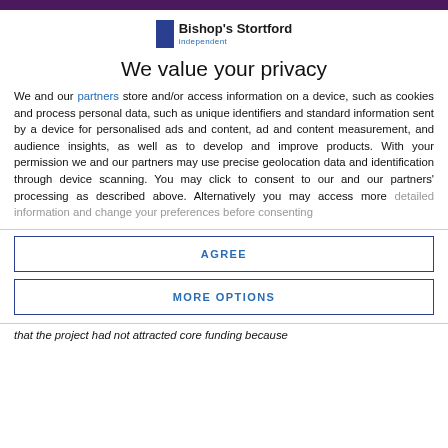[Figure (logo): Bishop's Stortford Independent logo — blue rectangle icon with text 'Bishop's Stortford' in bold and 'independent' in blue below]
We value your privacy
We and our partners store and/or access information on a device, such as cookies and process personal data, such as unique identifiers and standard information sent by a device for personalised ads and content, ad and content measurement, and audience insights, as well as to develop and improve products. With your permission we and our partners may use precise geolocation data and identification through device scanning. You may click to consent to our and our partners' processing as described above. Alternatively you may access more detailed information and change your preferences before consenting
AGREE
MORE OPTIONS
that the project had not attracted core funding because